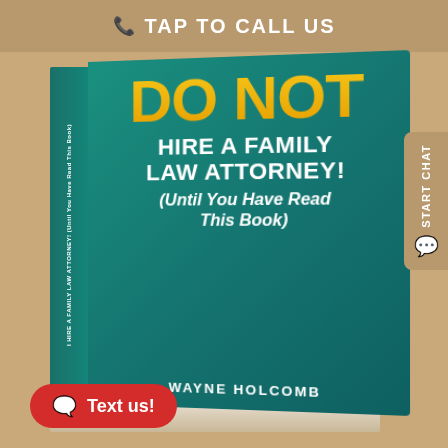TAP TO CALL US
[Figure (photo): Book cover titled 'DO NOT HIRE A FAMILY LAW ATTORNEY! (Until You Have Read This Book)' by Wayne Holcomb. Teal/green book with yellow and white text, shown at a slight angle with spine visible.]
START CHAT
Text us!